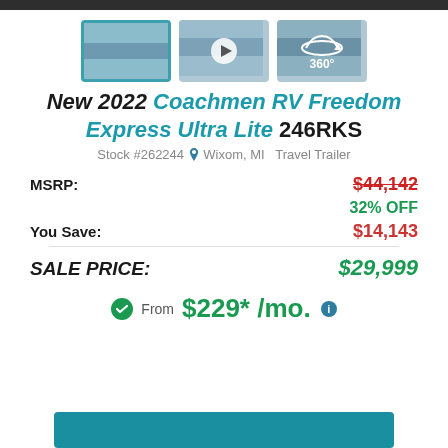[Figure (screenshot): Three thumbnail images: first selected with '+25' label, second with play button, third with 360° icon]
New 2022 Coachmen RV Freedom Express Ultra Lite 246RKS
Stock #262244  Wixom, MI  Travel Trailer
MSRP: $44,142
32% OFF
You Save: $14,143
SALE PRICE: $29,999
From $229* /mo.